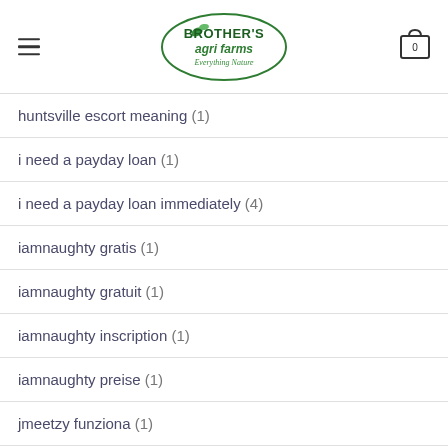Brother's Agri Farms - Everything Nature
huntsville escort meaning (1)
i need a payday loan (1)
i need a payday loan immediately (4)
iamnaughty gratis (1)
iamnaughty gratuit (1)
iamnaughty inscription (1)
iamnaughty preise (1)
jmeetzy funziona (1)
[Figure (screenshot): Chat widget: Chat with Brothersagrifarms - Hi! How can we help you? with Messenger icon]
incontri-bbw italia (1)